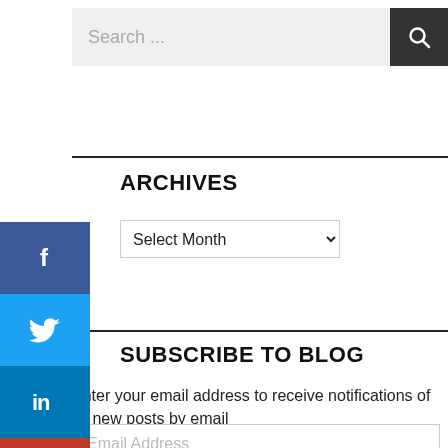[Figure (screenshot): Search bar with text input field showing 'Search ...' placeholder and a dark search button with magnifying glass icon]
ARCHIVES
[Figure (screenshot): Dropdown select element showing 'Select Month' option]
SUBSCRIBE TO BLOG
Enter your email address to receive notifications of all new posts by email
[Figure (screenshot): Email Address input field]
[Figure (infographic): Social media share sidebar with Facebook, Twitter, LinkedIn, Google+, and more buttons]